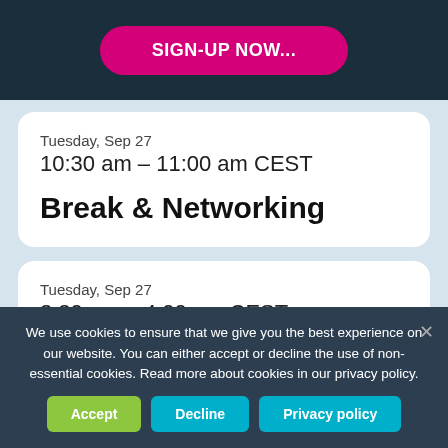SIGN-UP NOW...
Tuesday, Sep 27
10:30 am – 11:00 am CEST
Break & Networking
Tuesday, Sep 27
3:30 pm – 4:00 pm CEST
We use cookies to ensure that we give you the best experience on our website. You can either accept or decline the use of non-essential cookies. Read more about cookies in our privacy policy.
Accept
Decline
Privacy policy